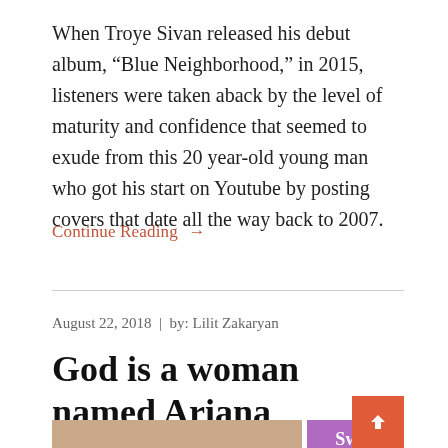When Troye Sivan released his debut album, “Blue Neighborhood,” in 2015, listeners were taken aback by the level of maturity and confidence that seemed to exude from this 20 year-old young man who got his start on Youtube by posting covers that date all the way back to 2007.
Continue Reading →
August 22, 2018  |  by: Lilit Zakaryan
God is a woman named Ariana Grande
[Figure (photo): Bottom portion of page showing an image with a skin-toned left section and a purple right section with partial white text reading 'Sweetener']